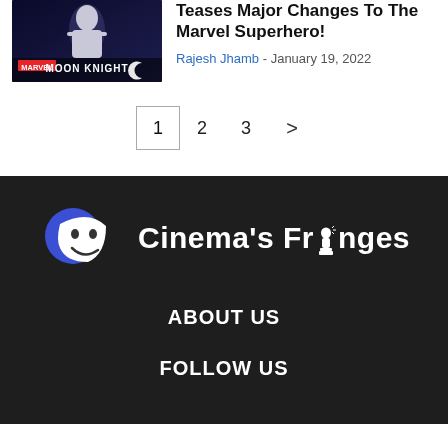[Figure (photo): Moon Knight Marvel thumbnail image with dark background and text 'MOON KNIGHT']
Teases Major Changes To The Marvel Superhero!
Rajesh Jhamb - January 19, 2022
Pagination: 1, 2, 3, >
[Figure (logo): Cinema's Fringes logo with theater mask icons and Oscar trophy replacing the 'i' in Fringes, white text on dark background]
ABOUT US
FOLLOW US